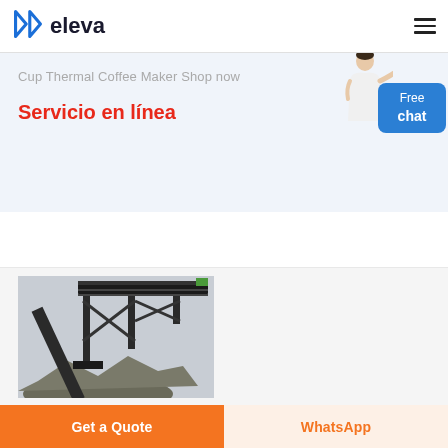[Figure (logo): Eleva brand logo with book-like icon and bold text 'eleva']
Cup Thermal Coffee Maker Shop now
Servicio en línea
[Figure (photo): Person in white shirt pointing, customer service representative]
[Figure (other): Blue rounded rectangle button with text 'Free chat']
[Figure (photo): Industrial conveyor belt structure on rocky terrain, steel frame bridge-like construction]
Get a Quote
WhatsApp